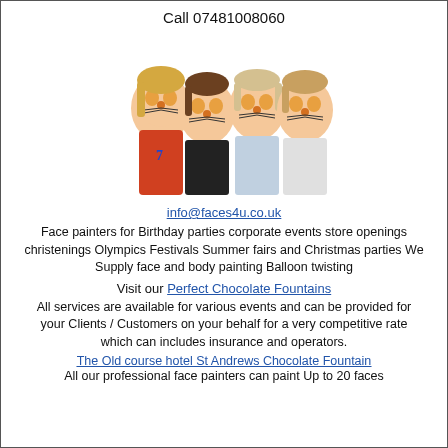Call 07481008060
[Figure (photo): Four children with tiger face paint posing together, smiling at the camera]
info@faces4u.co.uk
Face painters for Birthday parties corporate events store openings christenings Olympics Festivals Summer fairs and Christmas parties We Supply face and body painting Balloon twisting
Visit our Perfect Chocolate Fountains
All services are available for various events and can be provided for your Clients / Customers on your behalf for a very competitive rate which can includes insurance and operators.
The Old course hotel St Andrews Chocolate Fountain
All our professional face painters can paint Up to 20 faces